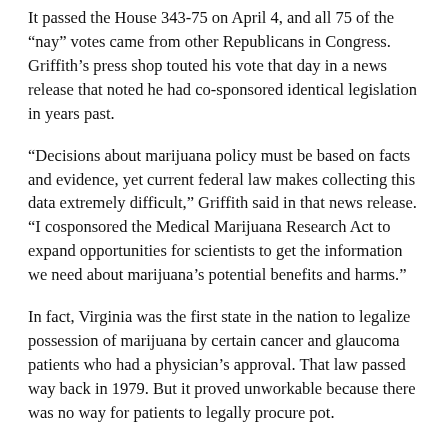It passed the House 343-75 on April 4, and all 75 of the “nay” votes came from other Republicans in Congress. Griffith’s press shop touted his vote that day in a news release that noted he had co-sponsored identical legislation in years past.
“Decisions about marijuana policy must be based on facts and evidence, yet current federal law makes collecting this data extremely difficult,” Griffith said in that news release. “I cosponsored the Medical Marijuana Research Act to expand opportunities for scientists to get the information we need about marijuana’s potential benefits and harms.”
In fact, Virginia was the first state in the nation to legalize possession of marijuana by certain cancer and glaucoma patients who had a physician’s approval. That law passed way back in 1979. But it proved unworkable because there was no way for patients to legally procure pot.
As a state delegate in 1997, Griffith fought efforts to repeal that unworkable law. (However, with respect to legalizing